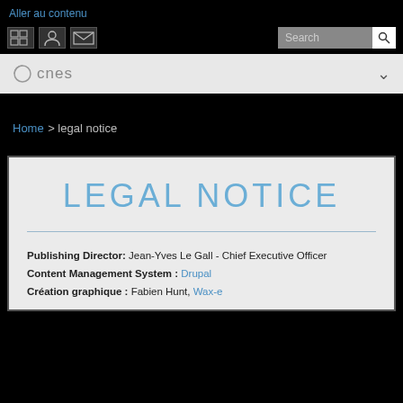Aller au contenu
[Figure (screenshot): CNES website navigation bar with icons and search field]
Home > legal notice
LEGAL NOTICE
Publishing Director: Jean-Yves Le Gall - Chief Executive Officer
Content Management System : Drupal
Création graphique : Fabien Hunt, Wax-e